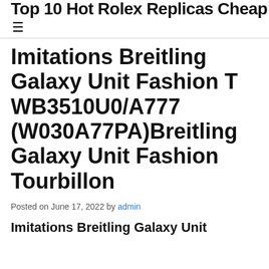Top 10 Hot Rolex Replicas Cheap
Imitations Breitling Galaxy Unit Fashion T WB3510U0/A777 (W030A77PA)Breitling Galaxy Unit Fashion Tourbillon
Posted on June 17, 2022 by admin
Imitations Breitling Galaxy Unit